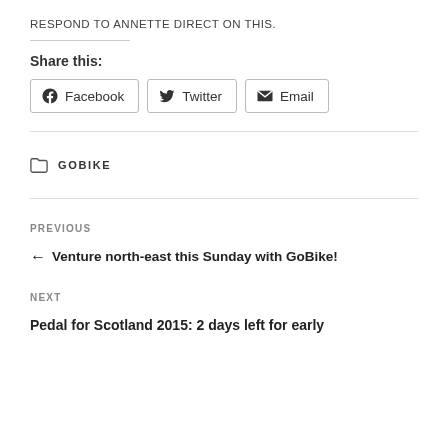RESPOND TO ANNETTE DIRECT ON THIS.
Share this:
[Figure (other): Share buttons for Facebook, Twitter, and Email]
GOBIKE
PREVIOUS
← Venture north-east this Sunday with GoBike!
NEXT
Pedal for Scotland 2015: 2 days left for early